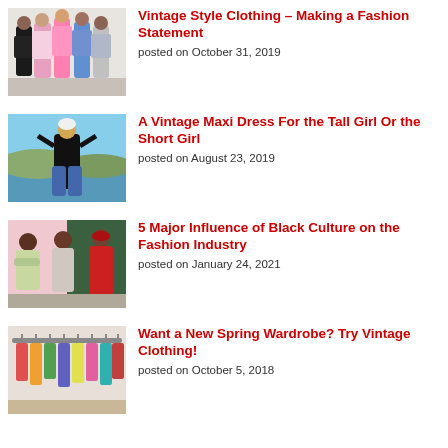[Figure (photo): Group of people in colorful fashion runway outfits]
Vintage Style Clothing – Making a Fashion Statement
posted on October 31, 2019
[Figure (photo): Woman in black top with wide-leg pants near a lake]
A Vintage Maxi Dress For the Tall Girl Or the Short Girl
posted on August 23, 2019
[Figure (photo): Two people in stylish outfits, one in red tracksuit]
5 Major Influence of Black Culture on the Fashion Industry
posted on January 24, 2021
[Figure (photo): Colorful vintage clothes hanging on a rack]
Want a New Spring Wardrobe? Try Vintage Clothing!
posted on October 5, 2018